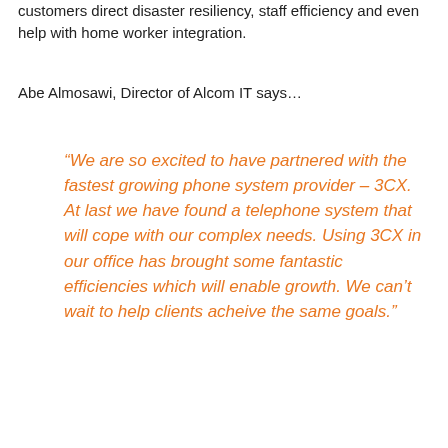customers direct disaster resiliency, staff efficiency and even help with home worker integration.
Abe Almosawi, Director of Alcom IT says…
“We are so excited to have partnered with the fastest growing phone system provider – 3CX. At last we have found a telephone system that will cope with our complex needs. Using 3CX in our office has brought some fantastic efficiencies which will enable growth. We can’t wait to help clients acheive the same goals.”